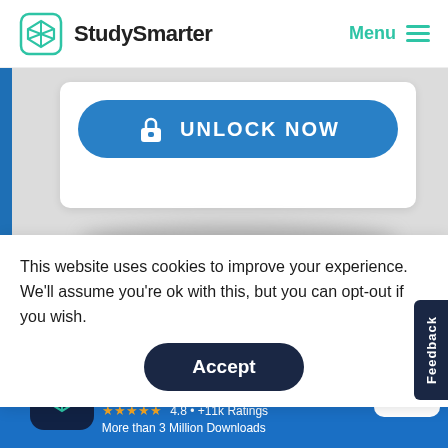StudySmarter   Menu
[Figure (screenshot): UNLOCK NOW button with lock icon on a blue rounded rectangle, inside a white card on grey background, with blue left sidebar]
This website uses cookies to improve your experience. We'll assume you're ok with this, but you can opt-out if you wish.
Accept
circuit has a potential difference of 30 V across its
[Figure (screenshot): StudySmarter app banner: dark navy app icon with teal logo, app name 'StudySmarter - The all-in-one study app.', 4.8 stars, +11k Ratings, More than 3 Million Downloads, Free button]